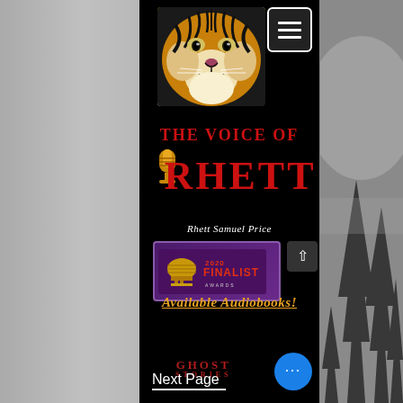[Figure (screenshot): Website screenshot of 'The Voice of Rhett' by Rhett Samuel Price. Central black panel with tiger image at top, large red stylized text 'THE VOICE OF RHETT' with gold microphone icon, author name in white italic, 2020 Finalist award badge, 'Available Audiobooks!' link, Ghost Stories text, and navigation elements. Gray side panels visible.]
THE VOICE OF RHETT
Rhett Samuel Price
2020 FINALIST AWARDS
Available Audiobooks!
GHOST STORIES
Next Page